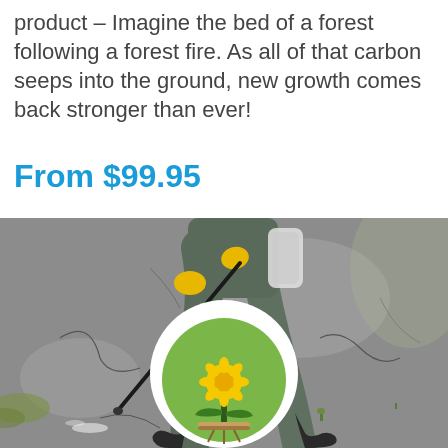product – Imagine the bed of a forest following a forest fire. As all of that carbon seeps into the ground, new growth comes back stronger than ever!
From $99.95
[Figure (photo): A person in gray work clothes and yellow gloves spraying a weed killer on a cracked asphalt surface, with a dandelion logo circle icon overlaid at the bottom center of the image.]